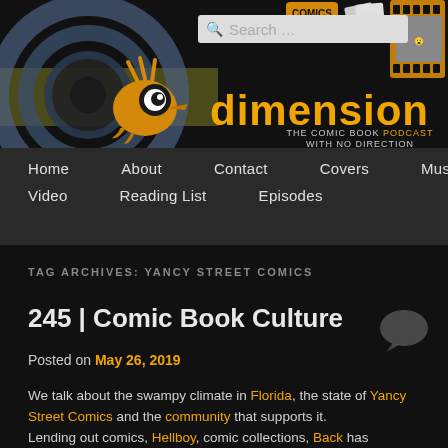[Figure (illustration): Website header banner for a comic book podcast called 'dimension - The Comic Book Podcast With No Direction', featuring a cartoon alien/bug-eyed creature mascot, decorative circles, comic book imagery icons (film strip, comics), and a search bar.]
Home   About   Contact   Covers   Music
Video   Reading List   Episodes
TAG ARCHIVES: YANCY STREET COMICS
245 | Comic Book Culture
Posted on May 26, 2019
We talk about the swampy climate in Florida, the state of Yancy Street Comics and the community that supports it. Lending out comics, Hellboy, comic collections, Back has...